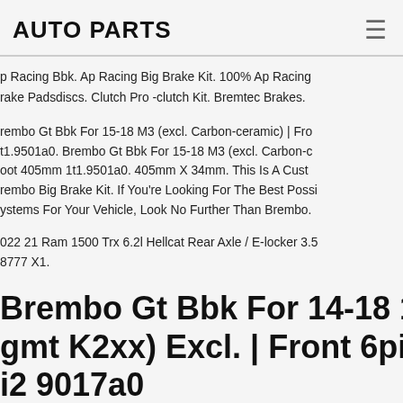AUTO PARTS
p Racing Bbk. Ap Racing Big Brake Kit. 100% Ap Racing Brake Padsdiscs. Clutch Pro -clutch Kit. Bremtec Brakes.
rembo Gt Bbk For 15-18 M3 (excl. Carbon-ceramic) | Front. t1.9501a0. Brembo Gt Bbk For 15-18 M3 (excl. Carbon-ceramic) oot 405mm 1t1.9501a0. 405mm X 34mm. This Is A Custom Brembo Big Brake Kit. If You're Looking For The Best Possible Systems For Your Vehicle, Look No Further Than Brembo.
022 21 Ram 1500 Trx 6.2l Hellcat Rear Axle / E-locker 3.5 8777 X1.
Brembo Gt Bbk For 14-18 1500 gmt K2xx) Excl. | Front 6pisto i2 9017a0